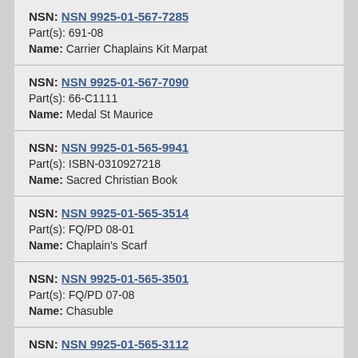NSN: NSN 9925-01-567-7285
Part(s): 691-08
Name: Carrier Chaplains Kit Marpat
NSN: NSN 9925-01-567-7090
Part(s): 66-C1111
Name: Medal St Maurice
NSN: NSN 9925-01-565-9941
Part(s): ISBN-0310927218
Name: Sacred Christian Book
NSN: NSN 9925-01-565-3514
Part(s): FQ/PD 08-01
Name: Chaplain's Scarf
NSN: NSN 9925-01-565-3501
Part(s): FQ/PD 07-08
Name: Chasuble
NSN: NSN 9925-01-565-3112